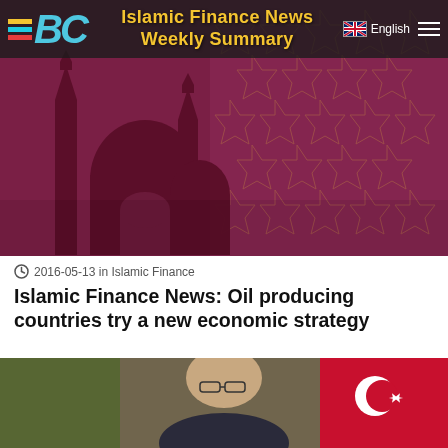Islamic Finance News Weekly Summary | English
[Figure (photo): Islamic Finance News Weekly Summary hero banner with mosque silhouette and geometric Islamic pattern background in deep purple/maroon tones]
2016-05-13 in Islamic Finance
Islamic Finance News: Oil producing countries try a new economic strategy
[Figure (photo): Photo of a bald man wearing glasses in front of a Turkish flag and green plant background]